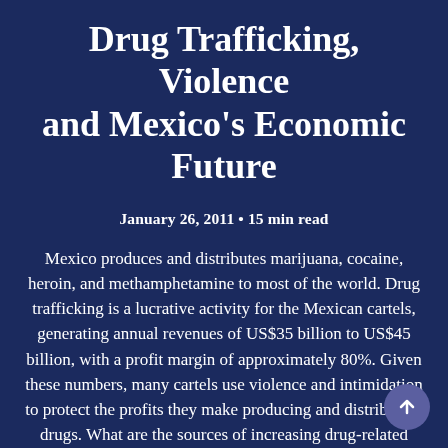Drug Trafficking, Violence and Mexico's Economic Future
January 26, 2011 • 15 min read
Mexico produces and distributes marijuana, cocaine, heroin, and methamphetamine to most of the world. Drug trafficking is a lucrative activity for the Mexican cartels, generating annual revenues of US$35 billion to US$45 billion, with a profit margin of approximately 80%. Given these numbers, many cartels use violence and intimidation to protect the profits they make producing and distributing drugs. What are the sources of increasing drug-related violence in Mexico and what is its economic impact, including direct and indirect costs? Finally, what has been the response of the global business community?